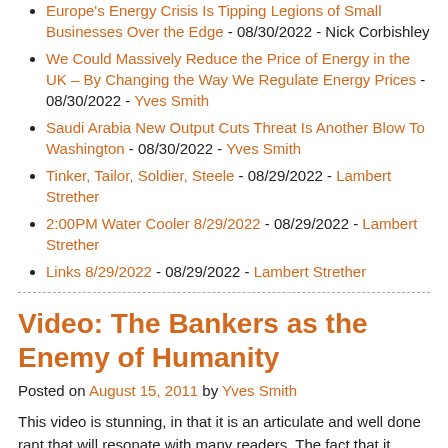Europe's Energy Crisis Is Tipping Legions of Small Businesses Over the Edge - 08/30/2022 - Nick Corbishley
We Could Massively Reduce the Price of Energy in the UK – By Changing the Way We Regulate Energy Prices - 08/30/2022 - Yves Smith
Saudi Arabia New Output Cuts Threat Is Another Blow To Washington - 08/30/2022 - Yves Smith
Tinker, Tailor, Soldier, Steele - 08/29/2022 - Lambert Strether
2:00PM Water Cooler 8/29/2022 - 08/29/2022 - Lambert Strether
Links 8/29/2022 - 08/29/2022 - Lambert Strether
Video: The Bankers as the Enemy of Humanity
Posted on August 15, 2011 by Yves Smith
This video is stunning, in that it is an articulate and well done rant that will resonate with many readers. The fact that it appeared on Karl Denninger's site (hat tip reader Scott, Denninger's been very critical of the TBTF banks) is an indication that the level of frustration with the major banks' refusal to take responsibility for wrecking the global economy